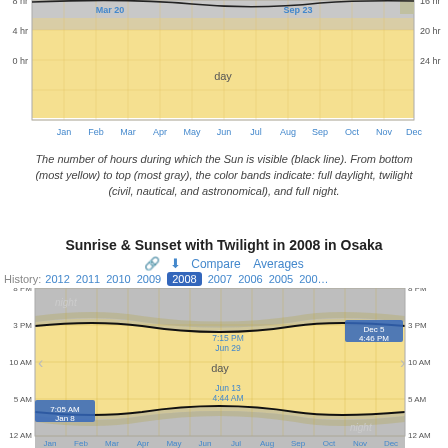[Figure (area-chart): Top portion of a daylight hours chart showing Mar 20 and Sep 23 equinoxes, with yellow 'day' band and axis labels for hours and months]
The number of hours during which the Sun is visible (black line). From bottom (most yellow) to top (most gray), the color bands indicate: full daylight, twilight (civil, nautical, and astronomical), and full night.
Sunrise & Sunset with Twilight in 2008 in Osaka
🔗  ⬇  Compare  Averages
History:  2012  2011  2010  2009  2008  2007  2006  2005  200…
[Figure (area-chart): Chart showing sunrise and sunset times throughout 2008 in Osaka. Yellow 'day' band in middle, gray 'night' bands at top and bottom. Black curves for sunrise and sunset. Annotations: 7:15 PM Jun 29 (latest sunset), Dec 5 4:46 PM (earliest sunset), Jun 13 4:44 AM (earliest sunrise), 7:05 AM Jan 8 (latest sunrise). Y-axis: 12 AM, 5 AM, 10 AM, 3 PM, 8 PM on both sides. X-axis: Jan through Dec.]